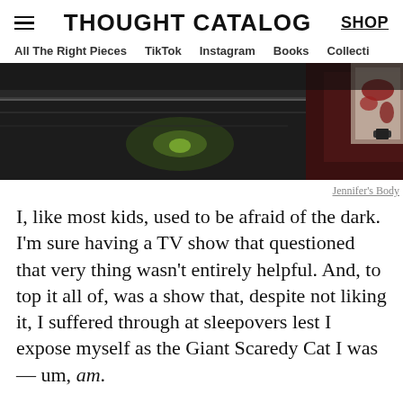THOUGHT CATALOG  SHOP
All The Right Pieces  TikTok  Instagram  Books  Collecti
[Figure (photo): A dark cinematic still from Jennifer's Body showing a blurry interior scene with red and dark tones]
Jennifer's Body
I, like most kids, used to be afraid of the dark. I'm sure having a TV show that questioned that very thing wasn't entirely helpful. And, to top it all of, was a show that, despite not liking it, I suffered through at sleepovers lest I expose myself as the Giant Scaredy Cat I was — um, am.